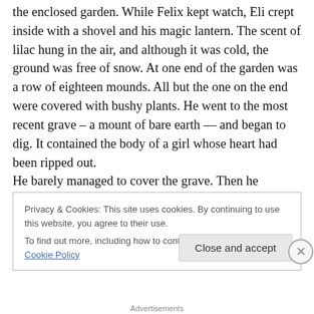the enclosed garden. While Felix kept watch, Eli crept inside with a shovel and his magic lantern. The scent of lilac hung in the air, and although it was cold, the ground was free of snow. At one end of the garden was a row of eighteen mounds. All but the one on the end were covered with bushy plants. He went to the most recent grave – a mount of bare earth — and began to dig. It contained the body of a girl whose heart had been ripped out.
He barely managed to cover the grave. Then he grabbed his lantern and shovel, and staggered outside. When he reached the trees, he vomited. Sweat ran down his back.
Privacy & Cookies: This site uses cookies. By continuing to use this website, you agree to their use.
To find out more, including how to control cookies, see here: Cookie Policy
Close and accept
Advertisements